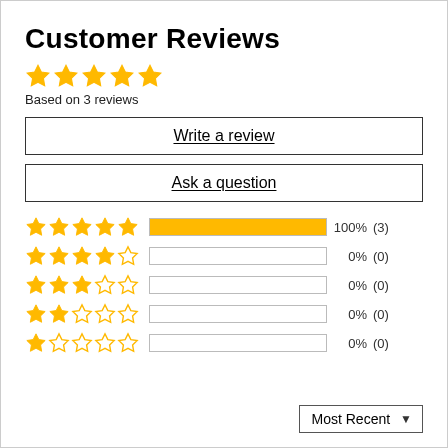Customer Reviews
[Figure (other): 5 filled gold stars rating display]
Based on 3 reviews
Write a review
Ask a question
[Figure (bar-chart): Rating breakdown]
Most Recent ▼